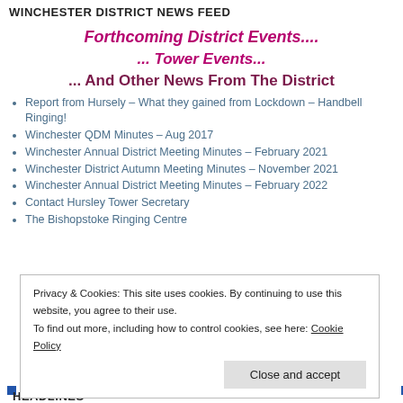WINCHESTER DISTRICT NEWS FEED
Forthcoming District Events....
... Tower Events...
... And Other News From The District
Report from Hursely – What they gained from Lockdown – Handbell Ringing!
Winchester QDM Minutes – Aug 2017
Winchester Annual District Meeting Minutes – February 2021
Winchester District Autumn Meeting Minutes – November 2021
Winchester Annual District Meeting Minutes – February 2022
Contact Hursley Tower Secretary
The Bishopstoke Ringing Centre
Privacy & Cookies: This site uses cookies. By continuing to use this website, you agree to their use.
To find out more, including how to control cookies, see here: Cookie Policy
Close and accept
HEADLINES